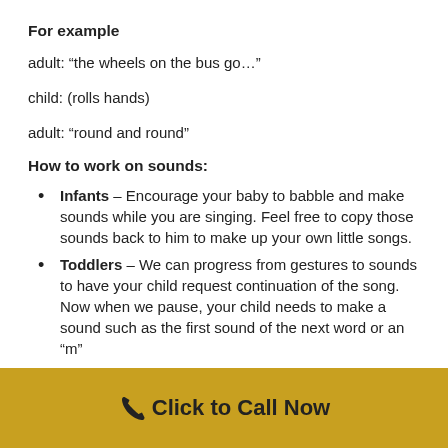For example
adult: “the wheels on the bus go…”
child: (rolls hands)
adult: “round and round”
How to work on sounds:
Infants – Encourage your baby to babble and make sounds while you are singing. Feel free to copy those sounds back to him to make up your own little songs.
Toddlers – We can progress from gestures to sounds to have your child request continuation of the song. Now when we pause, your child needs to make a sound such as the first sound of the next word or an “m”
Click to Call Now